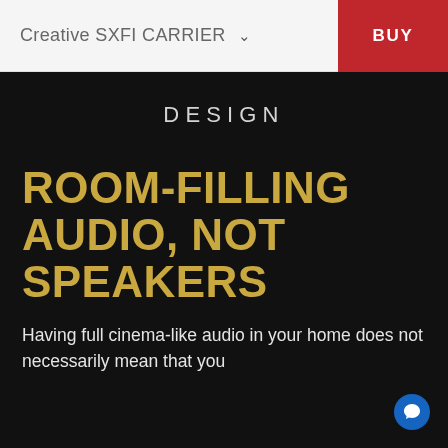Creative SXFI CARRIER
DESIGN
ROOM-FILLING AUDIO, NOT SPEAKERS
Having full cinema-like audio in your home does not necessarily mean that you have to forgo shelf for speaker living room furniture